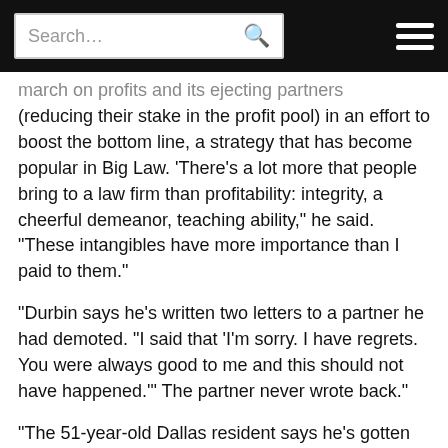Search... [search icon] [hamburger menu]
march on profits and its ejecting partners (reducing their stake in the profit pool) in an effort to boost the bottom line, a strategy that has become popular in Big Law. ‘There’s a lot more that people bring to a law firm than profitability: integrity, a cheerful demeanor, teaching ability,” he said. “These intangibles have more importance than I paid to them.”
“Durbin says he’s written two letters to a partner he had demoted. “I said that ‘I’m sorry. I have regrets. You were always good to me and this should not have happened.’” The partner never wrote back.”
“The 51-year-old Dallas resident says he’s gotten